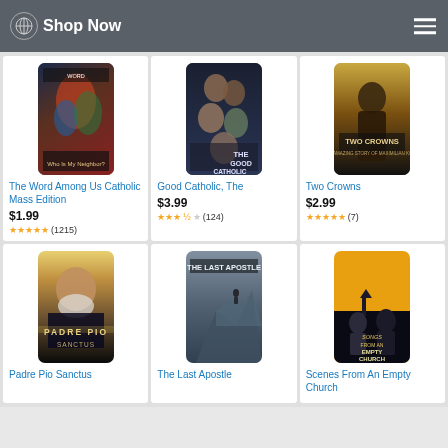Shop Now
[Figure (photo): The Word Among Us Catholic Mass Edition - book cover with stained glass image]
The Word Among Us Catholic Mass Edition
$1.99
★★★★★ (1215)
[Figure (photo): Good Catholic, The - movie poster with group of people]
Good Catholic, The
$3.99
★★★½☆ (124)
[Figure (photo): Two Crowns - movie poster with robed figure and text Two Crowns]
Two Crowns
$2.99
★★★★★ (7)
[Figure (photo): Padre Pio Sanctus - movie cover with elderly bearded man]
Padre Pio Sanctus
[Figure (photo): The Last Apostle - movie cover with person on rocky mountain]
The Last Apostle
[Figure (photo): Scenes From An Empty Church - orange background with two figures and church silhouette]
Scenes From An Empty Church